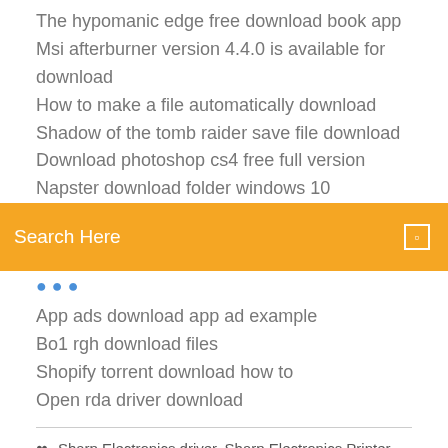The hypomanic edge free download book app
Msi afterburner version 4.4.0 is available for download
How to make a file automatically download
Shadow of the tomb raider save file download
Download photoshop cs4 free full version
Napster download folder windows 10
[Figure (screenshot): Orange search bar with 'Search Here' placeholder text and a small square icon on the right]
App ads download app ad example
Bo1 rgh download files
Shopify torrent download how to
Open rda driver download
Sharp Electronics driver. Sharp Electronics Printer Drivers. () This site maintains listings of printer, plotter and multi-office equipment drivers available on the web, organized by company.